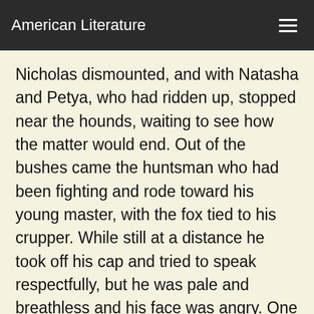American Literature
Nicholas dismounted, and with Natasha and Petya, who had ridden up, stopped near the hounds, waiting to see how the matter would end. Out of the bushes came the huntsman who had been fighting and rode toward his young master, with the fox tied to his crupper. While still at a distance he took off his cap and tried to speak respectfully, but he was pale and breathless and his face was angry. One of his eyes was black, but he probably was not even aware of it.
"What has happened?" asked Nicholas.
"A likely thing, killing a fox our dogs had hunted! And